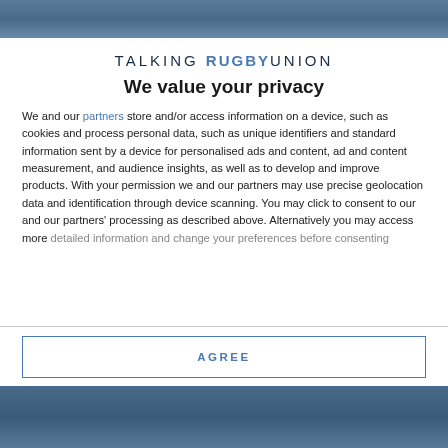[Figure (photo): Top portion of a rugby action photo, cropped at the top of the page]
TALKING RUGBY UNION
We value your privacy
We and our partners store and/or access information on a device, such as cookies and process personal data, such as unique identifiers and standard information sent by a device for personalised ads and content, ad and content measurement, and audience insights, as well as to develop and improve products. With your permission we and our partners may use precise geolocation data and identification through device scanning. You may click to consent to our and our partners' processing as described above. Alternatively you may access more detailed information and change your preferences before consenting
AGREE
MORE OPTIONS
[Figure (photo): Bottom portion of a rugby action photo, cropped at the bottom of the page]